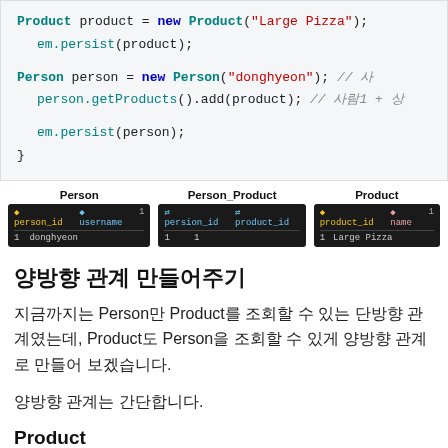[Figure (screenshot): Code block showing Java/JPA code: Product product = new Product("Large Pizza"); em.persist(product); Person person = new Person("donghyeon"); // 사람1 person.getProducts().add(product); // 사람1 + 상품 em.persist(person); }]
[Figure (screenshot): Database table screenshot showing three tables: Person (person_id, username, value: 1, donghyeon), Person_Product (persion_id, product_id, values: 1, 1), Product (product_id, name, values: 1, Large Pizza)]
양방향 관계 만들어주기
지금까지는 Person만 Product를 조회할 수 있는 단방향 관계였는데, Product도 Person을 조회할 수 있게 양방향 관계로 만들어 보겠습니다.
양방향 관계는 간단합니다.
Product